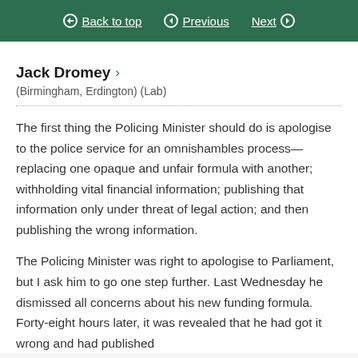Back to top   Previous   Next
Jack Dromey
(Birmingham, Erdington) (Lab)
The first thing the Policing Minister should do is apologise to the police service for an omnishambles process—replacing one opaque and unfair formula with another; withholding vital financial information; publishing that information only under threat of legal action; and then publishing the wrong information.
The Policing Minister was right to apologise to Parliament, but I ask him to go one step further. Last Wednesday he dismissed all concerns about his new funding formula. Forty-eight hours later, it was revealed that he had got it wrong and had published